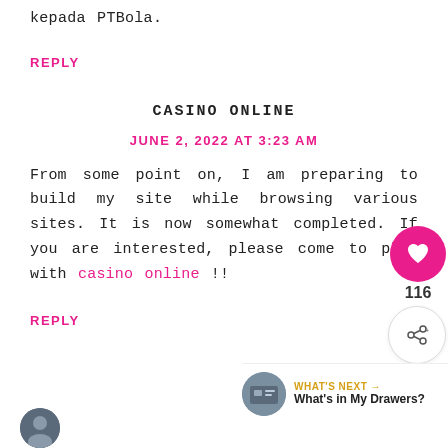kepada PTBola.
REPLY
CASINO ONLINE
JUNE 2, 2022 AT 3:23 AM
From some point on, I am preparing to build my site while browsing various sites. It is now somewhat completed. If you are interested, please come to play with casino online !!
REPLY
[Figure (infographic): Social sharing widgets: heart/like button with pink background, share count of 116, and a share icon button]
[Figure (infographic): What's Next widget showing thumbnail image and title 'What's in My Drawers?']
[Figure (photo): Small circular avatar at the bottom left of the page]